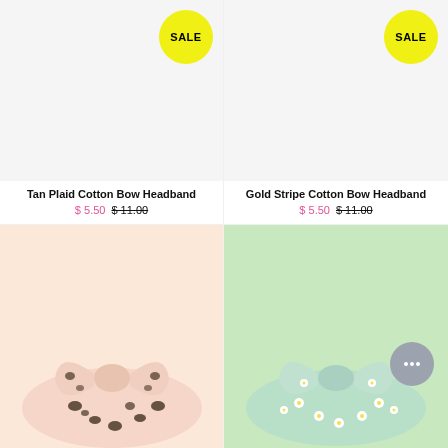[Figure (photo): Tan Plaid Cotton Bow Headband product image with SALE badge (yellow circle)]
Tan Plaid Cotton Bow Headband
$ 5.50  $ 11.00
[Figure (photo): Gold Stripe Cotton Bow Headband product image with SALE badge (yellow circle)]
Gold Stripe Cotton Bow Headband
$ 5.50  $ 11.00
[Figure (photo): Leopard print cotton bow headband product image (bottom row left)]
[Figure (photo): Floral daisy cotton bow headband product image (bottom row right)]